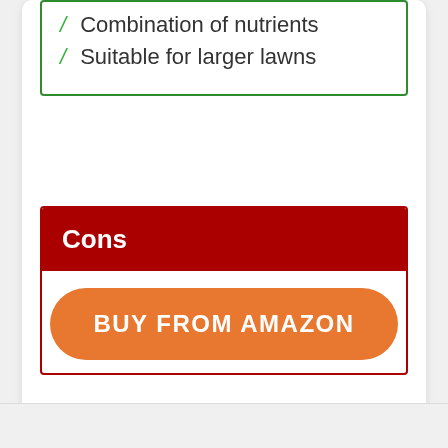Combination of nutrients
Suitable for larger lawns
Cons
Should not be applied to a wet area
BUY FROM AMAZON